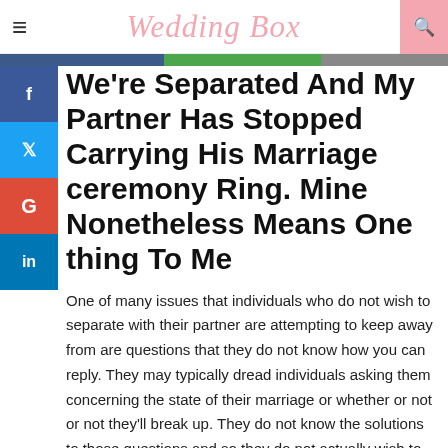Wedding Box
We're Separated And My Partner Has Stopped Carrying His Marriage ceremony Ring. Mine Nonetheless Means One thing To Me
One of many issues that individuals who do not wish to separate with their partner are attempting to keep away from are questions that they do not know how you can reply. They may typically dread individuals asking them concerning the state of their marriage or whether or not or not they'll break up. They do not know the solutions to those questions and so they do not actually wish to take into consideration them too deeply, a